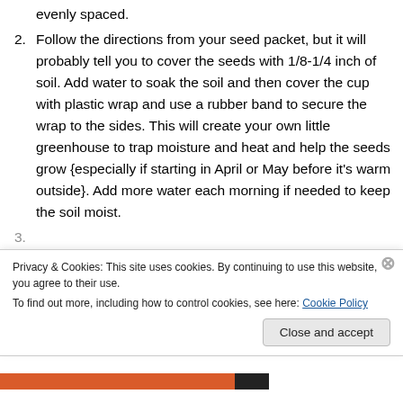evenly spaced.
Follow the directions from your seed packet, but it will probably tell you to cover the seeds with 1/8-1/4 inch of soil. Add water to soak the soil and then cover the cup with plastic wrap and use a rubber band to secure the wrap to the sides. This will create your own little greenhouse to trap moisture and heat and help the seeds grow {especially if starting in April or May before it's warm outside}. Add more water each morning if needed to keep the soil moist.
Privacy & Cookies: This site uses cookies. By continuing to use this website, you agree to their use.
To find out more, including how to control cookies, see here: Cookie Policy
Close and accept